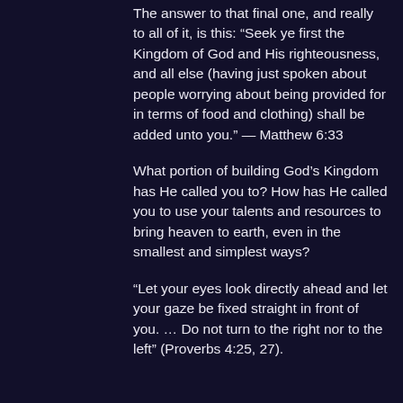The answer to that final one, and really to all of it, is this: “Seek ye first the Kingdom of God and His righteousness, and all else (having just spoken about people worrying about being provided for in terms of food and clothing) shall be added unto you.” — Matthew 6:33
What portion of building God’s Kingdom has He called you to? How has He called you to use your talents and resources to bring heaven to earth, even in the smallest and simplest ways?
“Let your eyes look directly ahead and let your gaze be fixed straight in front of you. … Do not turn to the right nor to the left” (Proverbs 4:25, 27).